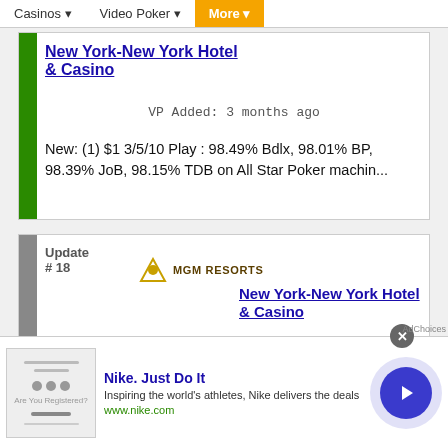Casinos ▾   Video Poker ▾   More ▾
New York-New York Hotel & Casino
VP Added: 3 months ago
New: (1) $1 3/5/10 Play : 98.49% Bdlx, 98.01% BP, 98.39% JoB, 98.15% TDB on All Star Poker machin...
Update # 18
[Figure (logo): MGM Resorts logo with golden lion head icon and text MGM RESORTS]
New York-New York Hotel & Casino
[Figure (infographic): Nike advertisement banner: Nike. Just Do It. Inspiring the world's athletes, Nike delivers the deals. www.nike.com]